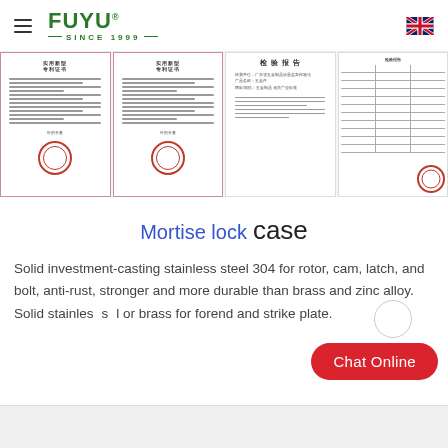[Figure (logo): FUYU logo with green text, SINCE 1999 tagline, hamburger menu icon on left, UK flag on right]
[Figure (photo): Strip of four certificate/document images: two Chinese patent certificates with red seals, one Chinese quality inspection report, one table-format document with red seal]
Mortise lock case
Solid investment-casting stainless steel 304 for rotor, cam, latch, and bolt, anti-rust, stronger and more durable than brass and zinc alloy. Solid stainle… l or brass for forend and strike plate.
[Figure (other): Chat Online red button]